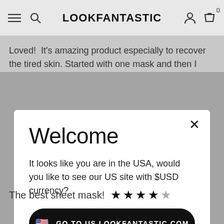LOOKFANTASTIC
Loved!  It's amazing product especially to recover the tired skin. Started with one mask and then I
[Figure (screenshot): Welcome modal dialog on lookfantastic.com asking if user wants to visit the US site with $USD currency. Contains a black button 'GO TO US.LOOKFANTASTIC.COM' with US flag icon, and a text link 'No Thanks, Stay on LOOKFANTASTIC.COM'.]
The best sheet mask!
[Figure (other): 4 out of 5 stars rating]